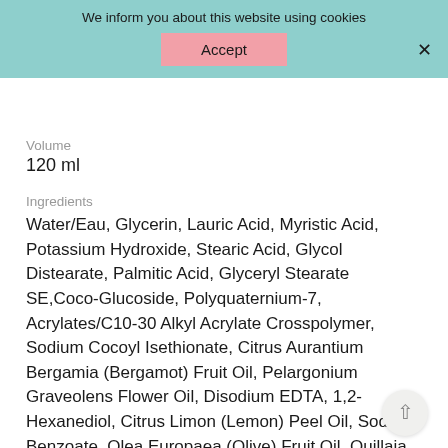We inform you about this website using cookies
Accept
×
Manufacturer
Dr.Jart+
Volume
120 ml
Ingredients
Water/Eau, Glycerin, Lauric Acid, Myristic Acid, Potassium Hydroxide, Stearic Acid, Glycol Distearate, Palmitic Acid, Glyceryl Stearate SE, Coco-Glucoside, Polyquaternium-7, Acrylates/C10-30 Alkyl Acrylate Crosspolymer, Sodium Cocoyl Isethionate, Citrus Aurantium Bergamia (Bergamot) Fruit Oil, Pelargonium Graveolens Flower Oil, Disodium EDTA, 1,2-Hexanediol, Citrus Limon (Lemon) Peel Oil, Sodium Benzoate, Olea Europaea (Olive) Fruit Oil, Quillaja Saponaria Bark Extract, Salvia Officinalis (Sage) Oil, Pogostemon Cablin Oil, Pinus Sylvestris Leaf Oil, Citric Acid, Citrus Aurantium Dulcis (Orange) Oil, Citrus Grandis (Grapefruit) Peel Oil, Salvia Sclarea (Clary) Oil, Aniba Rosaeodora (Rosewood) Wood Oil, Lavandula Angustifolia (Lavender) Oil, Cedrus Atlantica Bark Oil, Eucalyptus Globulus Leaf Oil, Theanine, Milk Lipids/Lipides Du Lait, Glutathione, Copaifera Officinalis (Balsam Copaiba) Resin, Jasminum